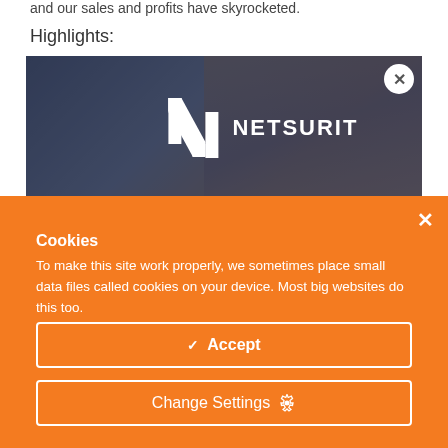and our sales and profits have skyrocketed.
Highlights:
[Figure (screenshot): Netsurit branded video thumbnail with a man in the background, showing the Netsurit logo (stylized N and NETSURIT text in white) on a dark blue overlay. A white circular close button (×) appears in the top right corner.]
Cookies
To make this site work properly, we sometimes place small data files called cookies on your device. Most big websites do this too.
✓  Accept
Change Settings  ⚙